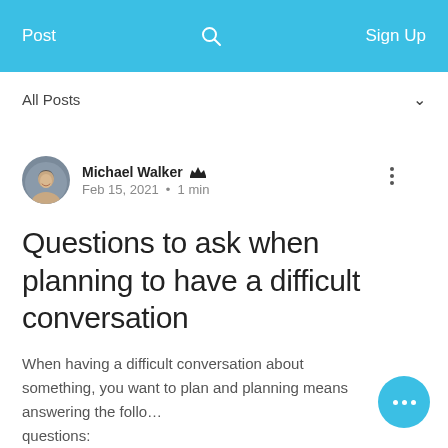Post | Sign Up
All Posts
Michael Walker  Feb 15, 2021 · 1 min
Questions to ask when planning to have a difficult conversation
When having a difficult conversation about something, you want to plan and planning means answering the following questions: